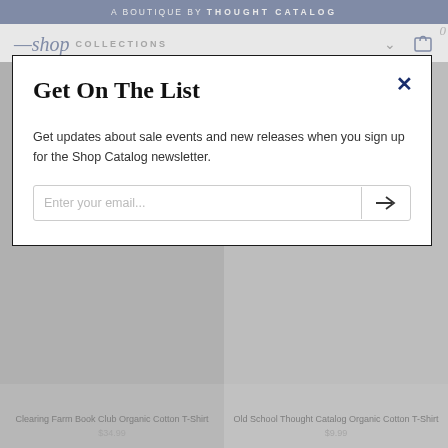A BOUTIQUE BY THOUGHT CATALOG
—shop COLLECTIONS
Get On The List
Get updates about sale events and new releases when you sign up for the Shop Catalog newsletter.
Enter your email...
Clearing Farm Book Club Organic Cotton T-Shirt
$34.99
Old School Thought Catalog Organic Cotton T-Shirt
$9.99